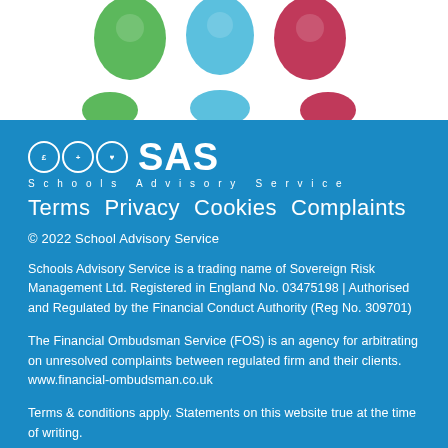[Figure (illustration): Colorful cartoon figures/icons at the top of the page on white background — green, blue, and red/pink stylized person icons]
[Figure (logo): SAS Schools Advisory Service logo with three circle icons and bold SAS text in white on blue background]
Schools Advisory Service
Terms  Privacy  Cookies  Complaints
© 2022 School Advisory Service
Schools Advisory Service is a trading name of Sovereign Risk Management Ltd. Registered in England No. 03475198 | Authorised and Regulated by the Financial Conduct Authority (Reg No. 309701)
The Financial Ombudsman Service (FOS) is an agency for arbitrating on unresolved complaints between regulated firm and their clients. www.financial-ombudsman.co.uk
Terms & conditions apply. Statements on this website true at the time of writing.